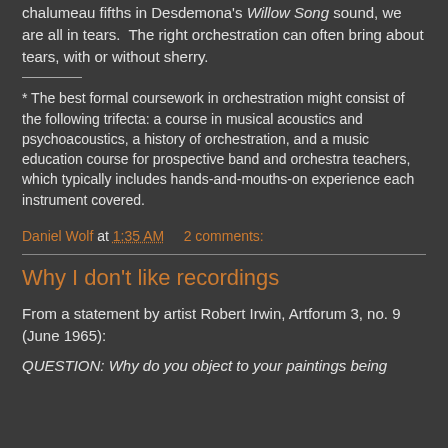chalumeau fifths in Desdemona's Willow Song sound, we are all in tears.  The right orchestration can often bring about tears, with or without sherry.
* The best formal coursework in orchestration might consist of the following trifecta: a course in musical acoustics and psychoacoustics, a history of orchestration, and a music education course for prospective band and orchestra teachers, which typically includes hands-and-mouths-on experience each instrument covered.
Daniel Wolf at 1:35 AM    2 comments:
Why I don't like recordings
From a statement by artist Robert Irwin, Artforum 3, no. 9 (June 1965):
QUESTION: Why do you object to your paintings being